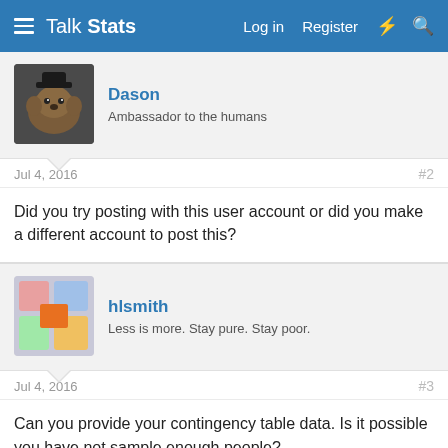Talk Stats — Log in  Register
Dason
Ambassador to the humans
Jul 4, 2016  #2
Did you try posting with this user account or did you make a different account to post this?
hlsmith
Less is more. Stay pure. Stay poor.
Jul 4, 2016  #3
Can you provide your contingency table data. Is it possible you have not sample enough people?

A possible fix is to add a nominal amount to all of the cells, typically 0.5 (referred to as acontinuity correction). You would just want to disclose the use of this approach when reporting the